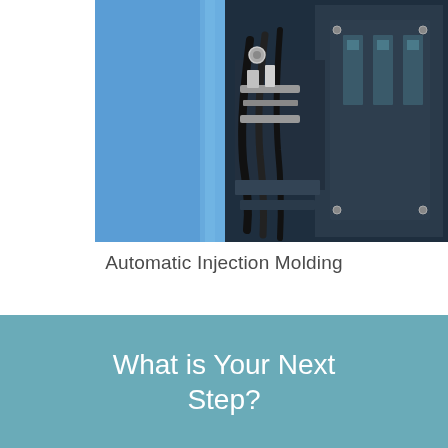[Figure (photo): Close-up photograph of automatic injection molding machine components — metallic hardware, cables, and machine parts with blue background on left and dark metal mold components on the right]
Automatic Injection Molding
What is Your Next Step?